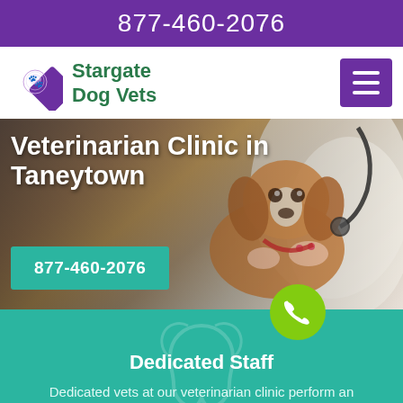877-460-2076
Stargate Dog Vets
[Figure (screenshot): Website screenshot of Stargate Dog Vets veterinarian clinic showing a Cavalier King Charles Spaniel being examined by a vet with a stethoscope, overlaid with the clinic title and phone number button]
Veterinarian Clinic in Taneytown
877-460-2076
Dedicated Staff
Dedicated vets at our veterinarian clinic perform an extensive range of veterinary services for pets, birds, and